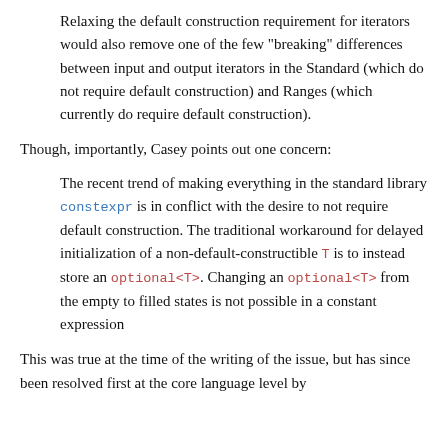Relaxing the default construction requirement for iterators would also remove one of the few “breaking” differences between input and output iterators in the Standard (which do not require default construction) and Ranges (which currently do require default construction).
Though, importantly, Casey points out one concern:
The recent trend of making everything in the standard library constexpr is in conflict with the desire to not require default construction. The traditional workaround for delayed initialization of a non-default-constructible T is to instead store an optional<T>. Changing an optional<T> from the empty to filled states is not possible in a constant expression
This was true at the time of the writing of the issue, but has since been resolved first at the core language level by